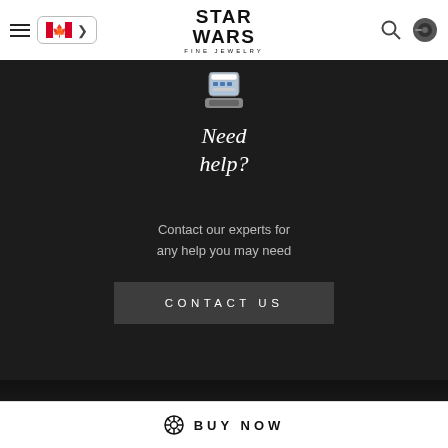Star Wars Fine Jewelry — navigation header with hamburger menu, Canadian flag/country selector, Star Wars Fine Jewelry logo, search icon, and cart icon
[Figure (illustration): R2-D2 pixel/icon illustration]
Need help?
Contact our experts for any help you may need
CONTACT US
Popular Searches
⊕ BUY NOW